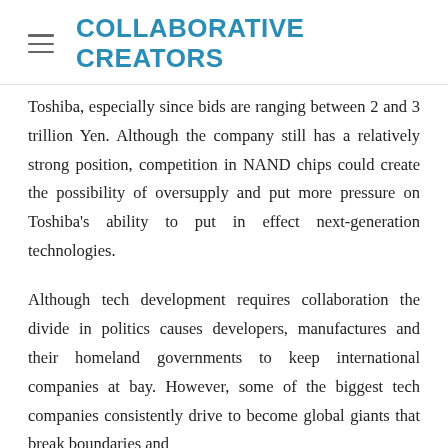COLLABORATIVE CREATORS
Toshiba, especially since bids are ranging between 2 and 3 trillion Yen. Although the company still has a relatively strong position, competition in NAND chips could create the possibility of oversupply and put more pressure on Toshiba's ability to put in effect next-generation technologies.
Although tech development requires collaboration the divide in politics causes developers, manufactures and their homeland governments to keep international companies at bay. However, some of the biggest tech companies consistently drive to become global giants that break boundaries and